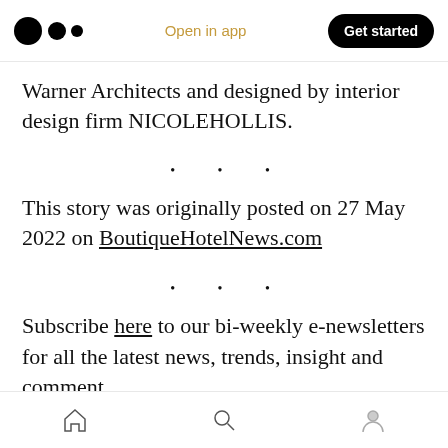Medium logo | Open in app | Get started
Warner Architects and designed by interior design firm NICOLEHOLLIS.
· · ·
This story was originally posted on 27 May 2022 on BoutiqueHotelNews.com
· · ·
Subscribe here to our bi-weekly e-newsletters for all the latest news, trends, insight and comment
Home | Search | Profile